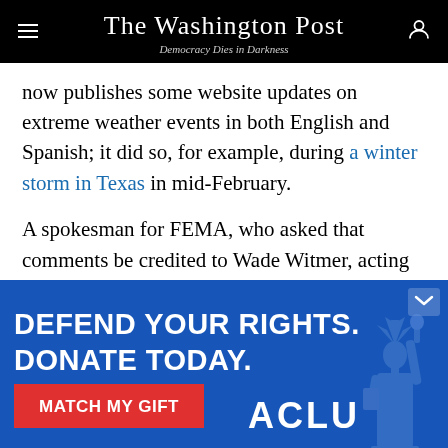The Washington Post — Democracy Dies in Darkness
now publishes some website updates on extreme weather events in both English and Spanish; it did so, for example, during a winter storm in Texas in mid-February.
A spokesman for FEMA, who asked that comments be credited to Wade Witmer, acting director of FEMA's Integrated Public Alert and Warning System (IPAWS) program, sent a written statement confirming that the
[Figure (infographic): ACLU advertisement banner with blue background. Text reads: DEFEND YOUR RIGHTS. DONATE TODAY. MATCH MY GIFT button in red. ACLU logo. Statue of Liberty silhouette on right side.]